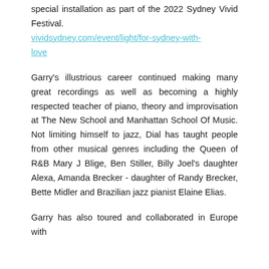special installation as part of the 2022 Sydney Vivid Festival.
vividsydney.com/event/light/for-sydney-with-love
Garry's illustrious career continued making many great recordings as well as becoming a highly respected teacher of piano, theory and improvisation at The New School and Manhattan School Of Music. Not limiting himself to jazz, Dial has taught people from other musical genres including the Queen of R&B Mary J Blige, Ben Stiller, Billy Joel's daughter Alexa, Amanda Brecker - daughter of Randy Brecker, Bette Midler and Brazilian jazz pianist Elaine Elias.
Garry has also toured and collaborated in Europe with